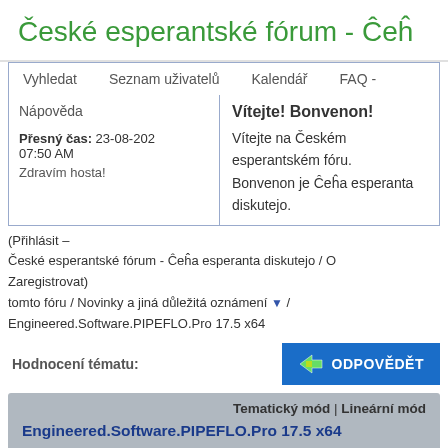České esperantské fórum - Ĉeĥa esperanta diskutejo
Vyhledat  Seznam uživatelů  Kalendář  FAQ -  Nápověda
Vítejte! Bonvenon!
Vítejte na Českém esperantském fóru.
Bonvenon je Ĉeĥa esperanta diskutejo.
Přesný čas: 23-08-2021 07:50 AM
Zdravím hosta!
(Přihlásit — Zaregistrovat)
České esperantské fórum - Ĉeĥa esperanta diskutejo / O tomto fóru / Novinky a jiná důležitá oznámení / Engineered.Software.PIPEFLO.Pro 17.5 x64
Hodnocení tématu:
ODPOVĚDĚT
Tematický mód | Lineární mód
Engineered.Software.PIPEFLO.Pro 17.5 x64
11-08-2021, 09:58 PM